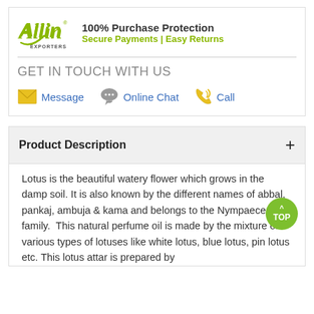[Figure (logo): Allin Exporters logo — stylized green 'Allin' text with checkmark and 'EXPORTERS' below]
100% Purchase Protection
Secure Payments | Easy Returns
GET IN TOUCH WITH US
Message   Online Chat   Call
Product Description
Lotus is the beautiful watery flower which grows in the damp soil. It is also known by the different names of abbal, pankaj, ambuja & kama and belongs to the Nympaeceae family.  This natural perfume oil is made by the mixture of various types of lotuses like white lotus, blue lotus, pin lotus etc. This lotus attar is prepared by